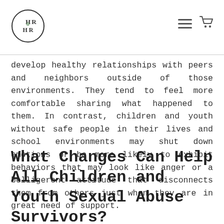HR logo with hamburger menu and cart icon
develop healthy relationships with peers and neighbors outside of those environments. They tend to feel more comfortable sharing what happened to them. In contrast, children and youth without safe people in their lives and school environments may shut down emotions or be more likely to exhibit behaviors that may look like anger or a belligerent attitude that disconnects them from others just when they are in great need of support.
What Changes Can Help All Children and Youth Sexual Abuse Survivors?